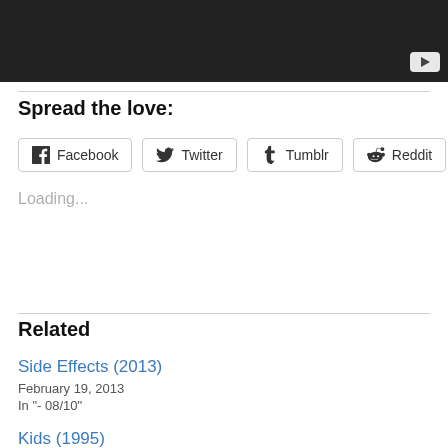[Figure (screenshot): Dark video player block with YouTube play button in lower right corner]
Spread the love:
Facebook  Twitter  Tumblr  Reddit (share buttons)
Loading...
Related
Side Effects (2013)
February 19, 2013
In "- 08/10"
Kids (1995)